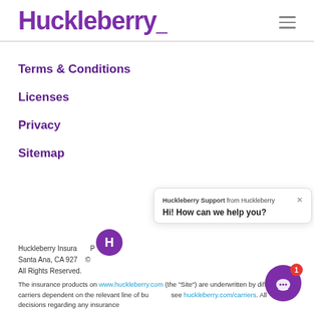Huckleberry
Terms & Conditions
Licenses
Privacy
Sitemap
Huckleberry Insurance P... Santa Ana, CA 927... © All Rights Reserved.
The insurance products on www.huckleberry.com (the "Site") are underwritten by different carriers dependent on the relevant line of bus... see huckleberry.com/carriers. All decisions regarding any insurance